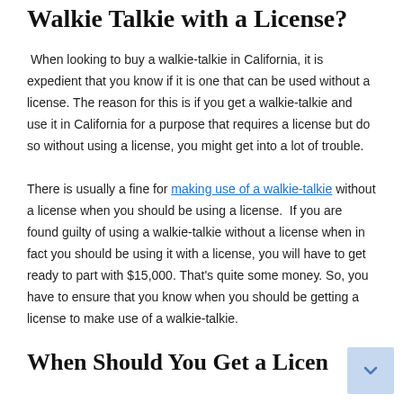How Important Is It to Use a Walkie Talkie with a License?
When looking to buy a walkie-talkie in California, it is expedient that you know if it is one that can be used without a license. The reason for this is if you get a walkie-talkie and use it in California for a purpose that requires a license but do so without using a license, you might get into a lot of trouble.
There is usually a fine for making use of a walkie-talkie without a license when you should be using a license. If you are found guilty of using a walkie-talkie without a license when in fact you should be using it with a license, you will have to get ready to part with $15,000. That’s quite some money. So, you have to ensure that you know when you should be getting a license to make use of a walkie-talkie.
When Should You Get a License